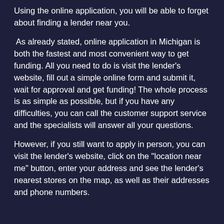Using the online application, you will be able to forget about finding a lender near you.
As already stated, online application in Michigan is both the fastest and most convenient way to get funding. All you need to do is visit the lender's website, fill out a simple online form and submit it, wait for approval and get funding! The whole process is as simple as possible, but if you have any difficulties, you can call the customer support service and the specialists will answer all your questions.
However, if you still want to apply in person, you can visit the lender's website, click on the "location near me" button, enter your address and see the lender's nearest stores on the map, as well as their addresses and phone numbers.